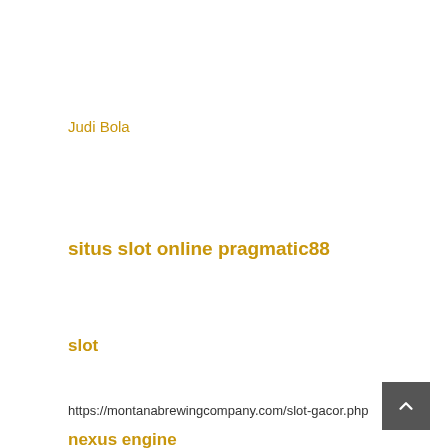Judi Bola
situs slot online pragmatic88
slot
nexus engine
https://montanabrewingcompany.com/slot-gacor.php